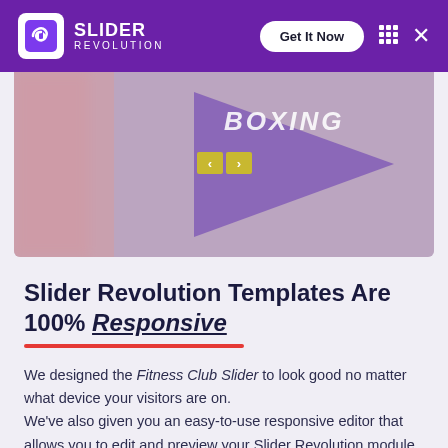SLIDER REVOLUTION | Get It Now
[Figure (screenshot): Slider preview image showing a boxing/fitness club slider with a purple arrow shape, navigation arrows, and the text BOXING overlaid on a blurred background]
Slider Revolution Templates Are 100% Responsive
We designed the Fitness Club Slider to look good no matter what device your visitors are on. We've also given you an easy-to-use responsive editor that allows you to edit and preview your Slider Revolution module from different views.